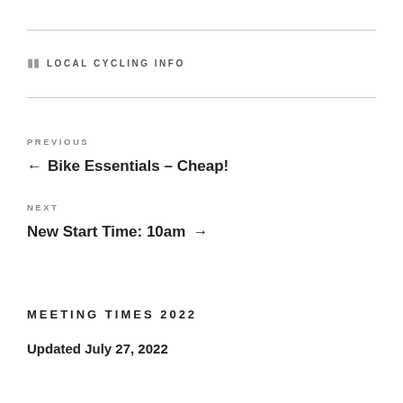LOCAL CYCLING INFO
PREVIOUS
← Bike Essentials – Cheap!
NEXT
New Start Time: 10am →
MEETING TIMES 2022
Updated July 27, 2022